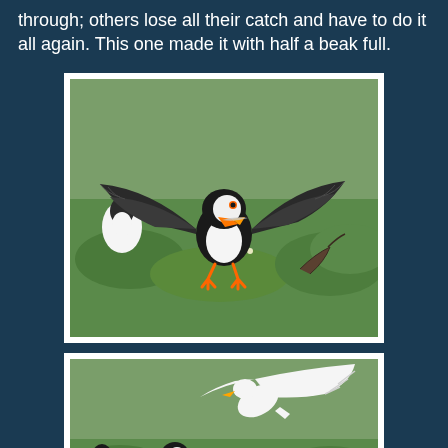through; others lose all their catch and have to do it all again. This one made it with half a beak full.
[Figure (photo): A puffin landing with wings fully spread, beak full of fish, orange feet visible, green grassy background with another puffin in the background]
[Figure (photo): A seagull swooping down aggressively at a puffin on grassy ground, possibly attempting to steal its catch]